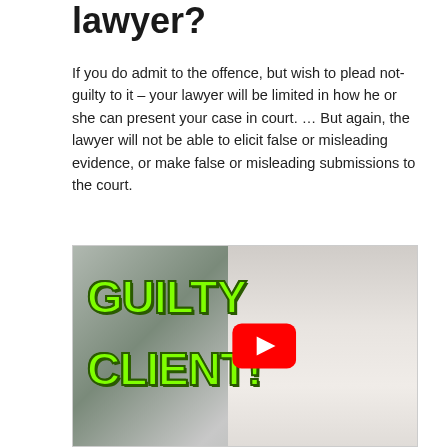lawyer?
If you do admit to the offence, but wish to plead not-guilty to it – your lawyer will be limited in how he or she can present your case in court. … But again, the lawyer will not be able to elicit false or misleading evidence, or make false or misleading submissions to the court.
[Figure (screenshot): YouTube video thumbnail showing a man with glasses and beard, hands clasped near face, with bold green text reading 'GUILTY CLIENT!' and a red YouTube play button overlay in the center]